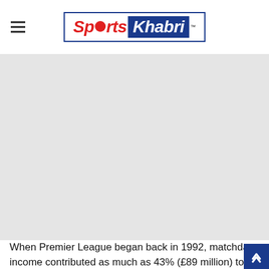[Figure (logo): Sports Khabri logo — red italic 'Sports' text with a red circle replacing the 'o', followed by white italic 'Khabri' on a dark blue background, all inside a dark blue border rectangle. TM superscript at top right.]
[Figure (photo): Large gray placeholder image area below the header, occupying most of the page.]
When Premier League began back in 1992, matchday income contributed as much as 43% (£89 million) to the overal